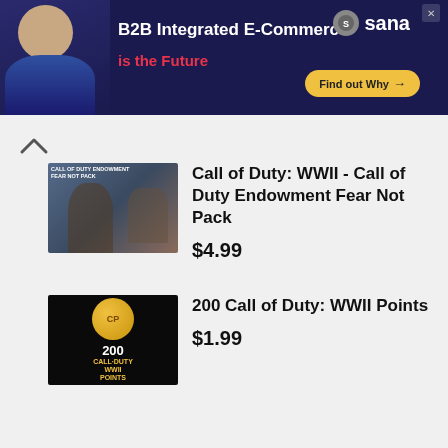[Figure (screenshot): Advertisement banner: dark navy background, person on left, text 'B2B Integrated E-Commerce is the Future' with Sana logo and 'Find out Why' button on right]
[Figure (photo): Call of Duty: WWII - Call of Duty Endowment Fear Not Pack game cover thumbnail]
Call of Duty: WWII - Call of Duty Endowment Fear Not Pack
$4.99
[Figure (photo): 200 Call of Duty: WWII Points product image with gold coin on black background]
200 Call of Duty: WWII Points
$1.99